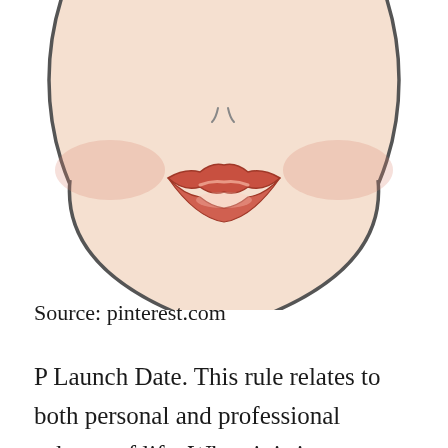[Figure (illustration): Illustration of a face (lower half visible) showing lips with red/coral lipstick and rosy cheeks, on a white background. Style is a makeup artist face chart sketch.]
Source: pinterest.com
P Launch Date. This rule relates to both personal and professional spheres of life. When it is important to...